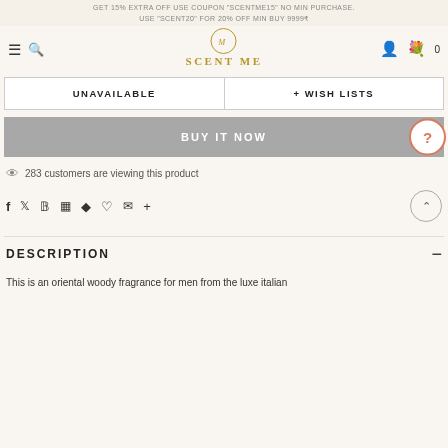GET 15% EXTRA OFF USE COUPON "SCENTME15" NO MIN PURCHASE. USE "SCENT20" FOR 20% OFF MIN BUY 9999₹
SCENT ME
UNAVAILABLE
+ WISH LISTS
BUY IT NOW
👁 283 customers are viewing this product
f  𝕏  𝗣  ▦  𝗳  ♡  ✉  +
DESCRIPTION
This is an oriental woody fragrance for men from the luxe italian